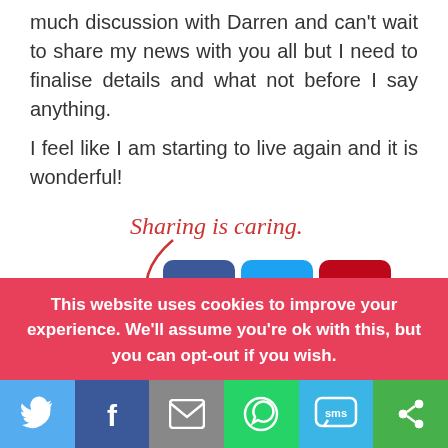much discussion with Darren and can't wait to share my news with you all but I need to finalise details and what not before I say anything.
I feel like I am starting to live again and it is wonderful!
[Figure (infographic): Sharing is caring label with a red arrow pointing to social media share buttons: Facebook, Twitter, Pinterest, LinkedIn, Email, and a green share button]
You may also like:
This website uses cookies to improve your experience. We'll assume you're ok with this, but you can opt-out if you wish.
[Figure (infographic): Bottom social sharing bar with Twitter, Facebook, Email, WhatsApp, SMS, and a green share button]